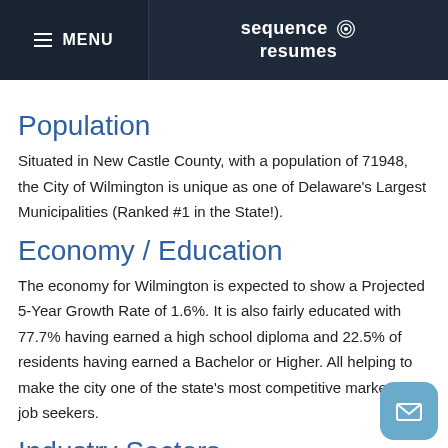MENU | sequence resumes
Population
Situated in New Castle County, with a population of 71948, the City of Wilmington is unique as one of Delaware’s Largest Municipalities (Ranked #1 in the State!).
Economy / Education
The economy for Wilmington is expected to show a Projected 5-Year Growth Rate of 1.6%. It is also fairly educated with 77.7% having earned a high school diploma and 22.5% of residents having earned a Bachelor or Higher. All helping to make the city one of the state’s most competitive markets for job seekers.
Industry Sectors